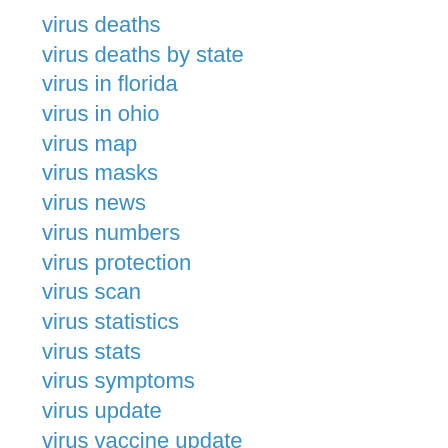virus deaths
virus deaths by state
virus in florida
virus in ohio
virus map
virus masks
virus news
virus numbers
virus protection
virus scan
virus statistics
virus stats
virus symptoms
virus update
virus vaccine update